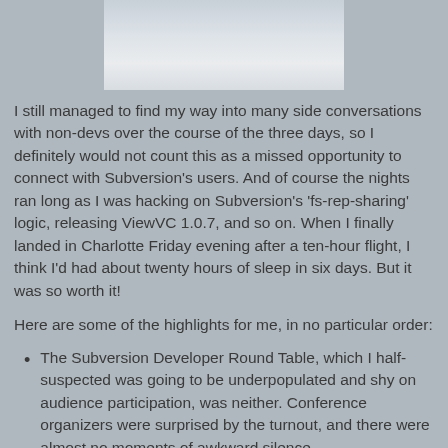[Figure (photo): Partial image visible at the top of the page, light gray/blue toned image cropped]
I still managed to find my way into many side conversations with non-devs over the course of the three days, so I definitely would not count this as a missed opportunity to connect with Subversion's users. And of course the nights ran long as I was hacking on Subversion's 'fs-rep-sharing' logic, releasing ViewVC 1.0.7, and so on. When I finally landed in Charlotte Friday evening after a ten-hour flight, I think I'd had about twenty hours of sleep in six days. But it was so worth it!
Here are some of the highlights for me, in no particular order:
The Subversion Developer Round Table, which I half-suspected was going to be underpopulated and shy on audience participation, was neither. Conference organizers were surprised by the turnout, and there were almost no moments of awkward silence.